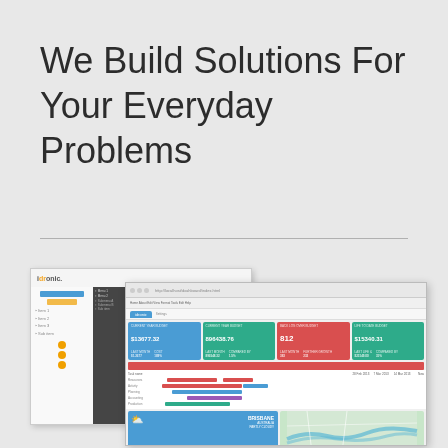We Build Solutions For Your Everyday Problems
[Figure (screenshot): Two overlapping software application screenshots showing a dashboard interface with KPI metric boxes (dollar amounts and counts), a Gantt chart view, weather widget for Brisbane, and a map widget. The back screenshot shows an idronic branded panel with a sidebar navigation.]